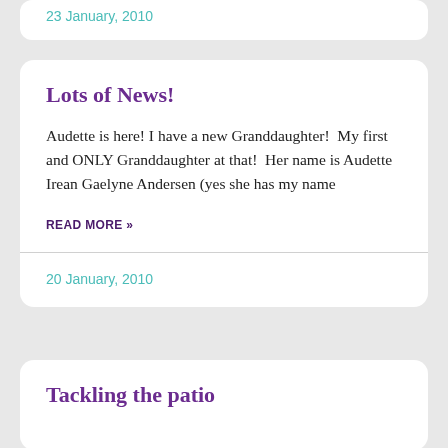23 January, 2010
Lots of News!
Audette is here! I have a new Granddaughter!  My first and ONLY Granddaughter at that!  Her name is Audette Irean Gaelyne Andersen (yes she has my name
READ MORE »
20 January, 2010
Tackling the patio